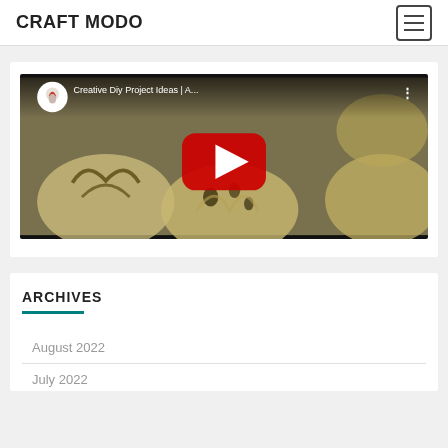CRAFT MODO
[Figure (screenshot): YouTube video thumbnail showing muffin tin with dough, titled 'Creative Diy Project Ideas | A...' with channel icon and play button]
ARCHIVES
August 2022
July 2022